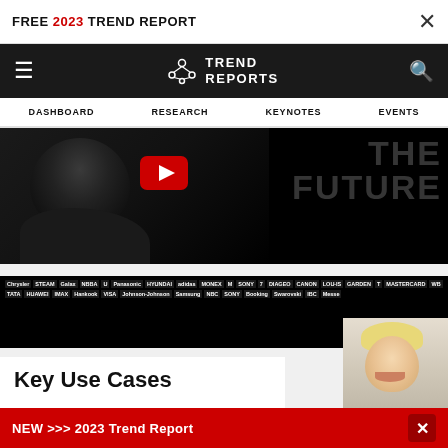FREE 2023 TREND REPORT
[Figure (screenshot): Trend Reports website navigation bar with hamburger menu, logo, and search icon on black background]
DASHBOARD  RESEARCH  KEYNOTES  EVENTS
[Figure (photo): Dark hero image showing a person's silhouette with 'THE FUTURE' text overlay and a YouTube play button]
[Figure (logo): Black banner strip with many company logos including Diageo, 7, Panasonic, Hyundai, McDonald's, Sony, Visa, IMAX and many others]
Key Use Cases
Ask a Question
NEW >>> 2023 Trend Report